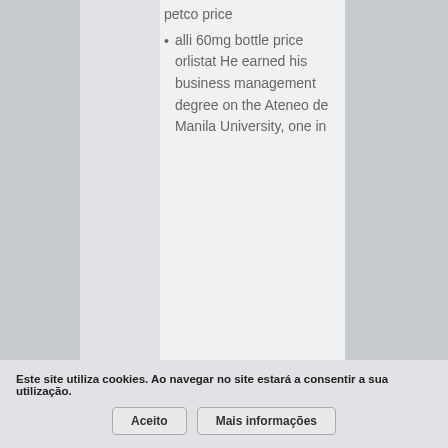petco price
alli 60mg bottle price orlistat He earned his business management degree on the Ateneo de Manila University, one in
Este site utiliza cookies. Ao navegar no site estará a consentir a sua utilização.
Aceito
Mais informações